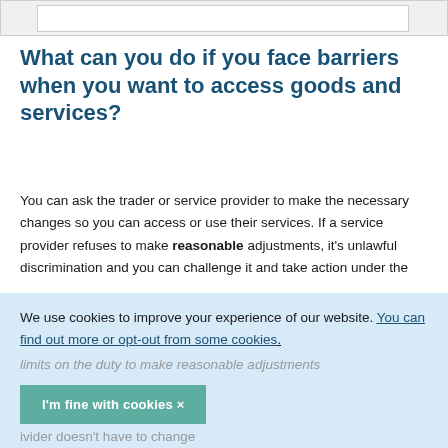What can you do if you face barriers when you want to access goods and services?
You can ask the trader or service provider to make the necessary changes so you can access or use their services. If a service provider refuses to make reasonable adjustments, it’s unlawful discrimination and you can challenge it and take action under the
We use cookies to improve your experience of our website. You can find out more or opt-out from some cookies.
limits on the duty to make reasonable adjustments
I’m fine with cookies ×
ivider doesn’t have to change